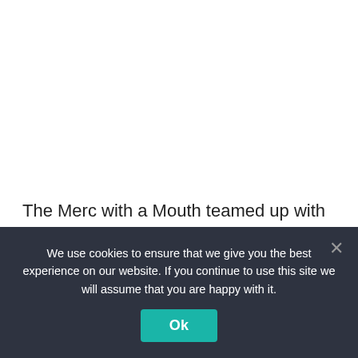The Merc with a Mouth teamed up with many heroes back in 2016, but it was with Gambit that he came into an actual odd couple situation. So, of course, it's a
We use cookies to ensure that we give you the best experience on our website. If you continue to use this site we will assume that you are happy with it.
Ok